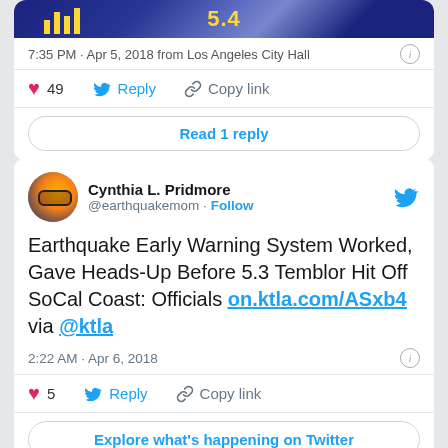[Figure (screenshot): Top portion of a Twitter card showing earthquake magnitude 5.4 image strip]
7:35 PM · Apr 5, 2018 from Los Angeles City Hall
49  Reply  Copy link
Read 1 reply
[Figure (screenshot): Twitter profile avatar of Cynthia L. Pridmore (@earthquakemom)]
Cynthia L. Pridmore @earthquakemom · Follow
Earthquake Early Warning System Worked, Gave Heads-Up Before 5.3 Temblor Hit Off SoCal Coast: Officials on.ktla.com/ASxb4 via @ktla
2:22 AM · Apr 6, 2018
5  Reply  Copy link
Explore what's happening on Twitter